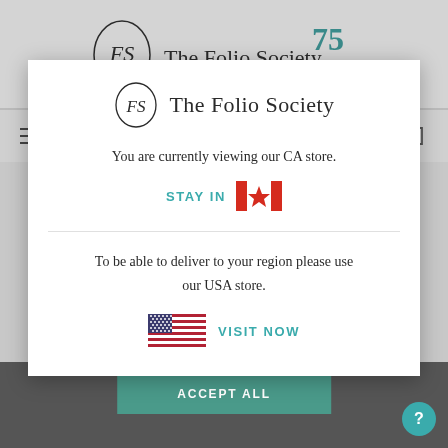[Figure (screenshot): The Folio Society website header with logo and 75th anniversary badge]
[Figure (screenshot): Website navigation bar with hamburger menu, Canadian flag icon, search icon, and cart icon]
[Figure (logo): The Folio Society logo with circular FS monogram]
You are currently viewing our CA store.
STAY IN
[Figure (illustration): Canadian flag emoji]
To be able to deliver to your region please use our USA store.
[Figure (illustration): US flag emoji]
VISIT NOW
ACCEPT ALL